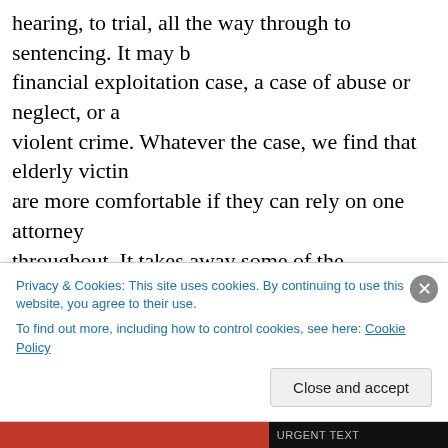hearing, to trial, all the way through to sentencing. It may be a financial exploitation case, a case of abuse or neglect, or a violent crime. Whatever the case, we find that elderly victims are more comfortable if they can rely on one attorney throughout. It takes away some of the intimidation that courts can cause, and it's worked. We're proud to say that our new division had a conviction rate of over 90 percent last year. We also have specialized personnel in our Victim-Witness program, who help guide elderly victims through the legal process. When it's needed, they offer transportation and other assistance as well. Beyond that, our office drafted new law
Privacy & Cookies: This site uses cookies. By continuing to use this website, you agree to their use.
To find out more, including how to control cookies, see here: Cookie Policy
Close and accept